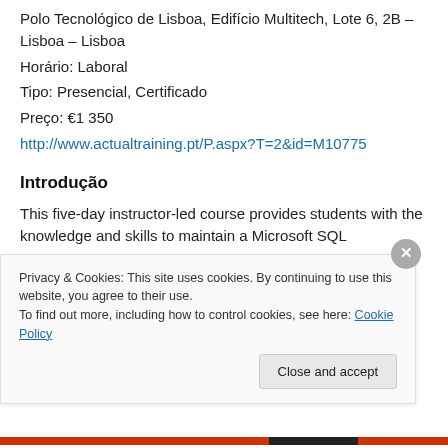Polo Tecnológico de Lisboa, Edifício Multitech, Lote 6, 2B – Lisboa – Lisboa
Horário: Laboral
Tipo: Presencial, Certificado
Preço: €1 350
http://www.actualtraining.pt/P.aspx?T=2&id=M10775
Introdução
This five-day instructor-led course provides students with the knowledge and skills to maintain a Microsoft SQL
Privacy & Cookies: This site uses cookies. By continuing to use this website, you agree to their use.
To find out more, including how to control cookies, see here: Cookie Policy